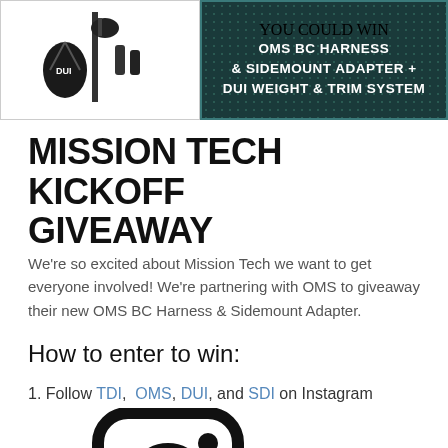[Figure (photo): Banner image showing diving gear on the left and a dark teal dotted promotional panel on the right with text: YOU COULD WIN OMS BC HARNESS & SIDEMOUNT ADAPTER + DUI WEIGHT & TRIM SYSTEM]
MISSION TECH KICKOFF GIVEAWAY
We're so excited about Mission Tech we want to get everyone involved! We're partnering with OMS to giveaway their new OMS BC Harness & Sidemount Adapter.
How to enter to win:
1. Follow TDI, OMS, DUI, and SDI on Instagram
[Figure (illustration): Instagram logo icon — rounded square outline with a circle and small circle (camera lens and viewfinder dot)]